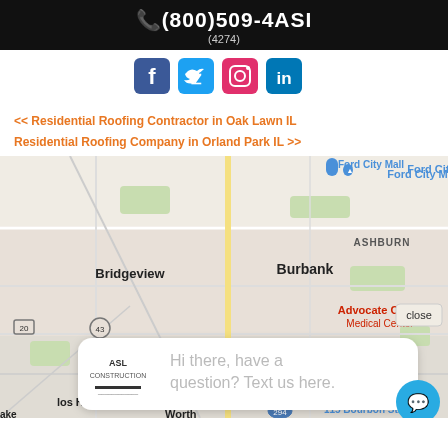(800)509-4ASI (4274)
[Figure (infographic): Social media icons: Facebook, Twitter, Instagram, LinkedIn]
<< Residential Roofing Contractor in Oak Lawn IL
Residential Roofing Company in Orland Park IL >>
[Figure (map): Google Maps showing Burbank, Bridgeview, Chicago Ridge area with Advocate Christ Medical Center, Ford City Mall, 115 Bourbon Street, and a chat popup from ASL Construction reading 'Hi there, have a question? Text us here.']